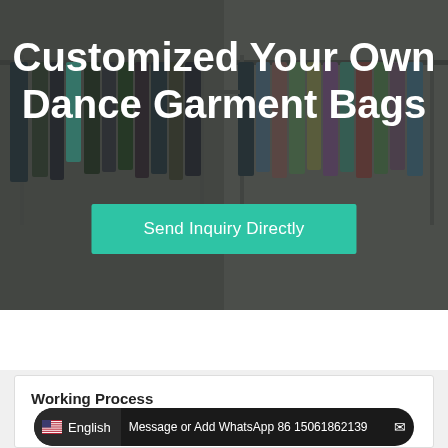[Figure (photo): Background photo of clothing hanging on racks in a store/warehouse, with dark overlay. Text overlay reads 'Customized Your Own Dance Garment Bags' and a teal 'Send Inquiry Directly' button.]
Customized Your Own Dance Garment Bags
Send Inquiry Directly
Working Process
Message or Add WhatsApp 86 15061862139